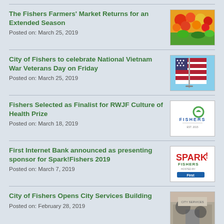The Fishers Farmers' Market Returns for an Extended Season
Posted on: March 25, 2019
[Figure (photo): Colorful flowers at Fishers Farmers Market]
City of Fishers to celebrate National Vietnam War Veterans Day on Friday
Posted on: March 25, 2019
[Figure (photo): American flag against blue sky]
Fishers Selected as Finalist for RWJF Culture of Health Prize
Posted on: March 18, 2019
[Figure (logo): City of Fishers logo]
First Internet Bank announced as presenting sponsor for Spark!Fishers 2019
Posted on: March 7, 2019
[Figure (logo): Spark! Fishers presented by First Internet Bank logo]
City of Fishers Opens City Services Building
Posted on: February 28, 2019
[Figure (photo): People inside City Services Building]